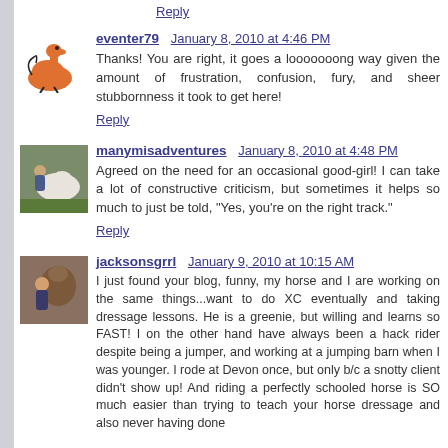Reply
eventer79   January 8, 2010 at 4:46 PM
Thanks! You are right, it goes a looooooong way given the amount of frustration, confusion, fury, and sheer stubbornness it took to get here!
Reply
manymisadventures   January 8, 2010 at 4:48 PM
Agreed on the need for an occasional good-girl! I can take a lot of constructive criticism, but sometimes it helps so much to just be told, "Yes, you're on the right track."
Reply
jacksonsgrrl   January 9, 2010 at 10:15 AM
I just found your blog, funny, my horse and I are working on the same things...want to do XC eventually and taking dressage lessons. He is a greenie, but willing and learns so FAST! I on the other hand have always been a hack rider despite being a jumper, and working at a jumping barn when I was younger. I rode at Devon once, but only b/c a snotty client didn't show up! And riding a perfectly schooled horse is SO much easier than trying to teach your horse dressage and also never having done